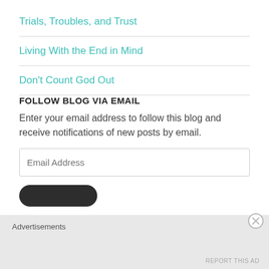Trials, Troubles, and Trust
Living With the End in Mind
Don't Count God Out
FOLLOW BLOG VIA EMAIL
Enter your email address to follow this blog and receive notifications of new posts by email.
Email Address
Advertisements